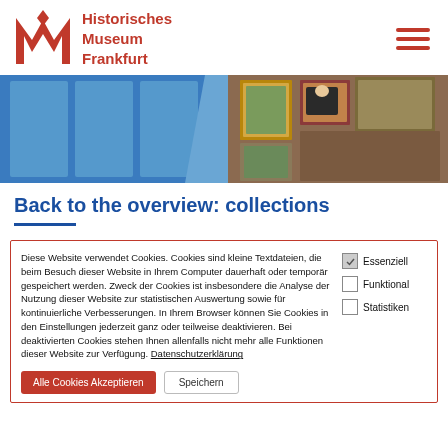[Figure (logo): Historisches Museum Frankfurt red M logo with diamond and text]
[Figure (photo): Hero banner showing museum gallery images — blue-tinted paintings on left, colorful portrait and floral paintings on right]
Back to the overview: collections
Diese Website verwendet Cookies. Cookies sind kleine Textdateien, die beim Besuch dieser Website in Ihrem Computer dauerhaft oder temporär gespeichert werden. Zweck der Cookies ist insbesondere die Analyse der Nutzung dieser Website zur statistischen Auswertung sowie für kontinuierliche Verbesserungen. In Ihrem Browser können Sie Cookies in den Einstellungen jederzeit ganz oder teilweise deaktivieren. Bei deaktivierten Cookies stehen Ihnen allenfalls nicht mehr alle Funktionen dieser Website zur Verfügung. Datenschutzerklärung
Essenziell (checked)
Funktional
Statistiken
Alle Cookies Akzeptieren | Speichern